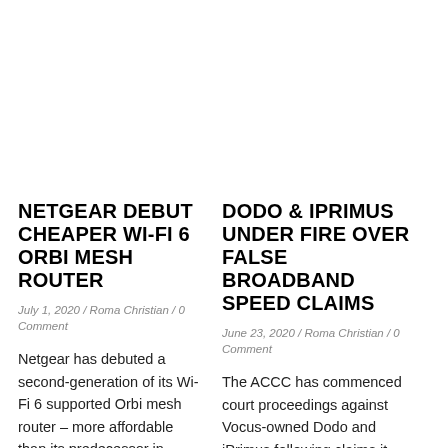NETGEAR DEBUT CHEAPER WI-FI 6 ORBI MESH ROUTER
July 1, 2020 / Roma Christian / 0 Comment
Netgear has debuted a second-generation of its Wi-Fi 6 supported Orbi mesh router – more affordable than its predecessor in
DODO & IPRIMUS UNDER FIRE OVER FALSE BROADBAND SPEED CLAIMS
June 23, 2020 / Roma Christian / 0 Comment
The ACCC has commenced court proceedings against Vocus-owned Dodo and iPrimus following claims it